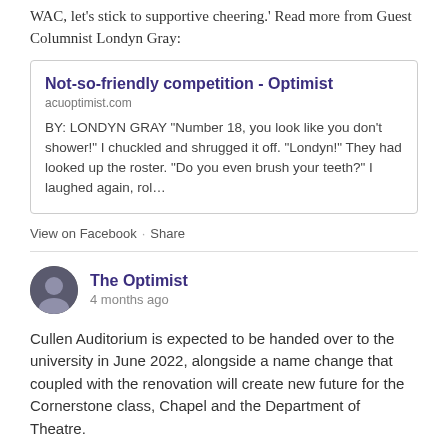WAC, let's stick to supportive cheering.' Read more from Guest Columnist Londyn Gray:
[Figure (screenshot): Link card preview for article 'Not-so-friendly competition - Optimist' from acuoptimist.com, with preview text: BY: LONDYN GRAY "Number 18, you look like you don't shower!" I chuckled and shrugged it off. "Londyn!" They had looked up the roster. "Do you even brush your teeth?" I laughed again, rol...]
View on Facebook · Share
The Optimist
4 months ago
Cullen Auditorium is expected to be handed over to the university in June 2022, alongside a name change that coupled with the renovation will create new future for the Cornerstone class, Chapel and the Department of Theatre.